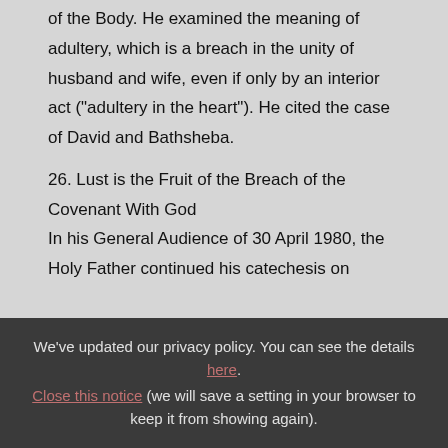Holy Father continued his series on Theology of the Body. He examined the meaning of adultery, which is a breach in the unity of husband and wife, even if only by an interior act ("adultery in the heart"). He cited the case of David and Bathsheba.
26. Lust is the Fruit of the Breach of the Covenant With God
In his General Audience of 30 April 1980, the Holy Father continued his catechesis on
We've updated our privacy policy. You can see the details here. Close this notice (we will save a setting in your browser to keep it from showing again).